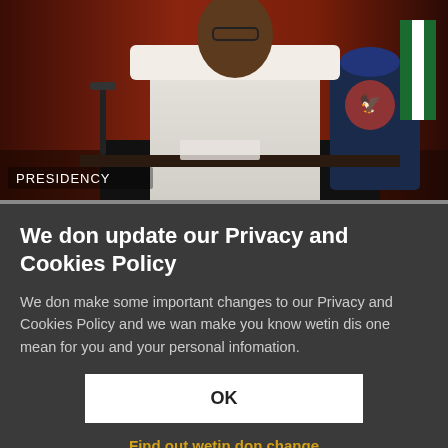[Figure (photo): Photo of a Nigerian official in white traditional robes standing at a podium. Text overlay reads PRESIDENCY in the lower left corner.]
We don update our Privacy and Cookies Policy
We don make some important changes to our Privacy and Cookies Policy and we wan make you know wetin dis one mean for you and your personal infomation.
OK
Find out wetin don change